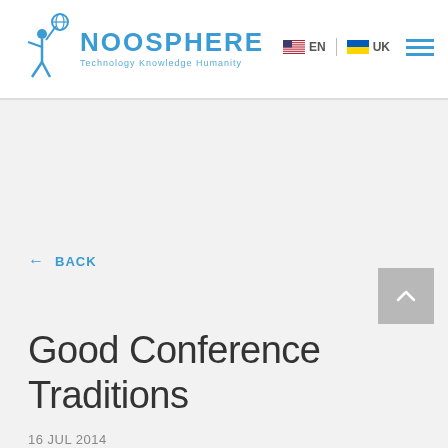NOOSPHERE Technology Knowledge Humanity | EN | UK
← BACK
Good Conference Traditions
16 JUL 2014